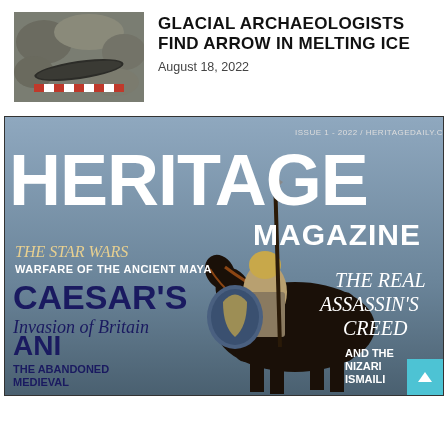[Figure (photo): Archaeological find: an arrow or stone artifact with a red-and-white measuring scale, found in melting glacial ice, rocks in background.]
GLACIAL ARCHAEOLOGISTS FIND ARROW IN MELTING ICE
August 18, 2022
[Figure (photo): Cover of Heritage Magazine, Issue 1 2022. Features a Roman soldier on horseback with shield and spear. Cover text includes: THE STAR WARS WARFARE OF THE ANCIENT MAYA, CAESAR'S Invasion of Britain, ANI THE ABANDONED MEDIEVAL CITY, MAGAZINE, THE REAL ASSASSIN'S CREED, AND THE NIZARI ISMAILI STATE. Small text: ISSUE 1 - 2022 / HERITAGEDAILY.COM]